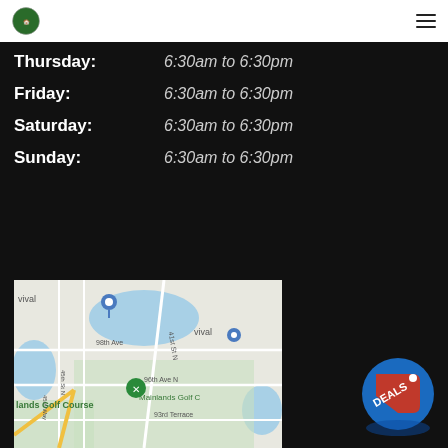Logo and navigation
Thursday: 6:30am to 6:30pm
Friday: 6:30am to 6:30pm
Saturday: 6:30am to 6:30pm
Sunday: 6:30am to 6:30pm
[Figure (map): Google Maps showing Mainlands Golf Course area with streets 41st St N, 98th Ave, 45th St N, 45th Way, 96th Ave N, 93rd Terrace, and a location pin marker.]